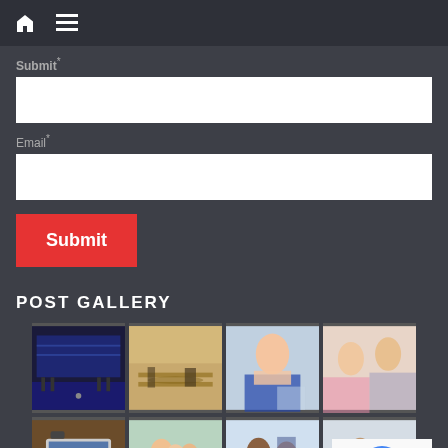Submit*
Email*
Submit
POST GALLERY
[Figure (photo): Photo gallery grid with 8 business/event photos including conference hall, meeting room, handshake, two women talking, laptop, group meeting, two men in discussion, and man with tablet. A reCAPTCHA widget overlays the bottom right.]